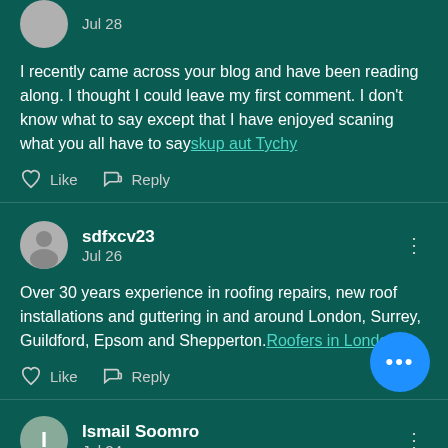Jul 28
I recently came across your blog and have been reading along. I thought I could leave my first comment. I don't know what to say except that I have enjoyed scaning what you all have to say skup aut Tychy
Like  Reply
sdfxcv23
Jul 26
Over 30 years experience in roofing repairs, new roof installations and guttering in and around London, Surrey, Guildford, Epsom and Shepperton. Roofers in London
Like  Reply
Ismail Soomro
Jul 24